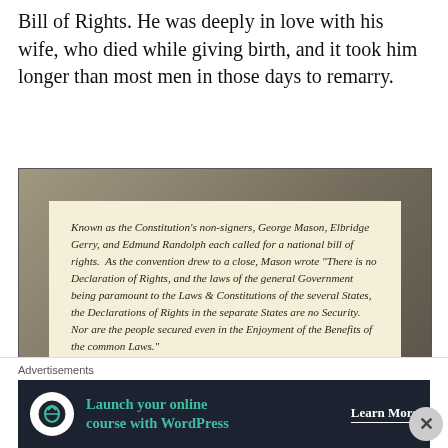Bill of Rights. He was deeply in love with his wife, who died while giving birth, and it took him longer than most men in those days to remarry.
[Figure (photo): A photograph of a museum display card showing a quote about the Constitution's non-signers: George Mason, Elbridge Gerry, and Edmund Randolph, with Mason's quote about the lack of a Declaration of Rights.]
[Figure (photo): Partial image of trees/foliage visible at the bottom of the page, partially obscured by advertisement overlay.]
Advertisements
[Figure (infographic): Advertisement banner for WordPress online course: 'Launch your online course with WordPress' with 'Learn More' call to action on dark navy background.]